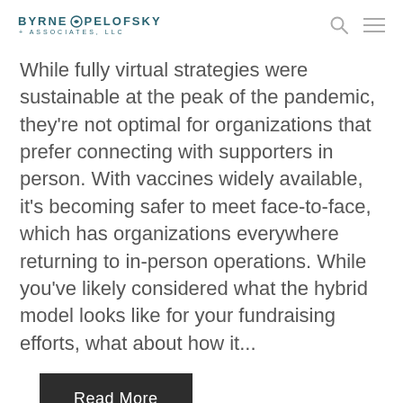BYRNE PELOFSKY + ASSOCIATES, LLC
While fully virtual strategies were sustainable at the peak of the pandemic, they're not optimal for organizations that prefer connecting with supporters in person. With vaccines widely available, it's becoming safer to meet face-to-face, which has organizations everywhere returning to in-person operations. While you've likely considered what the hybrid model looks like for your fundraising efforts, what about how it...
Read More